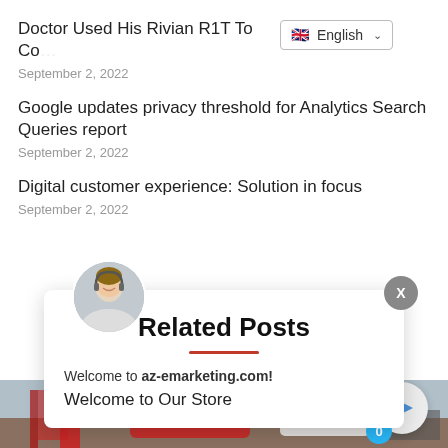Doctor Used His Rivian R1T To Co
September 2, 2022
Google updates privacy threshold for Analytics Search Queries report
September 2, 2022
Digital customer experience: Solution in focus
September 2, 2022
Related Posts
Welcome to az-emarketing.com!
Welcome to Our Store
[Figure (photo): Outdoor photo of a car event with red and white sports cars, a woman in red outfit, and banners. Blue sky background.]